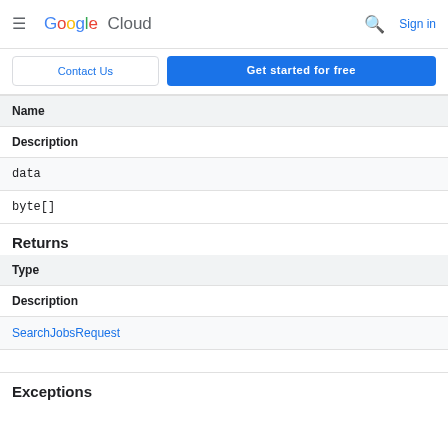Google Cloud  Sign in
Contact Us  Get started for free
| Name | Description |
| --- | --- |
| data | byte[] |
Returns
| Type | Description |
| --- | --- |
| SearchJobsRequest |  |
Exceptions